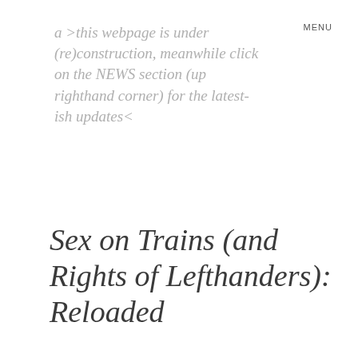MENU
a >this webpage is under (re)construction, meanwhile click on the NEWS section (up righthand corner) for the latest-ish updates<
Sex on Trains (and Rights of Lefthanders): Reloaded